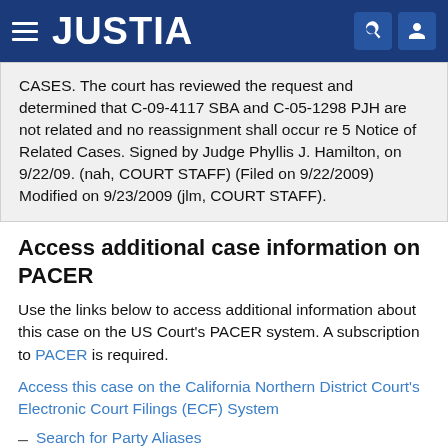JUSTIA
CASES. The court has reviewed the request and determined that C-09-4117 SBA and C-05-1298 PJH are not related and no reassignment shall occur re 5 Notice of Related Cases. Signed by Judge Phyllis J. Hamilton, on 9/22/09. (nah, COURT STAFF) (Filed on 9/22/2009) Modified on 9/23/2009 (jlm, COURT STAFF).
Access additional case information on PACER
Use the links below to access additional information about this case on the US Court's PACER system. A subscription to PACER is required.
Access this case on the California Northern District Court's Electronic Court Filings (ECF) System
Search for Party Aliases